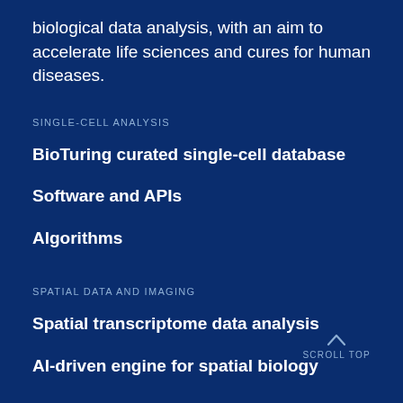biological data analysis, with an aim to accelerate life sciences and cures for human diseases.
SINGLE-CELL ANALYSIS
BioTuring curated single-cell database
Software and APIs
Algorithms
SPATIAL DATA AND IMAGING
Spatial transcriptome data analysis
AI-driven engine for spatial biology